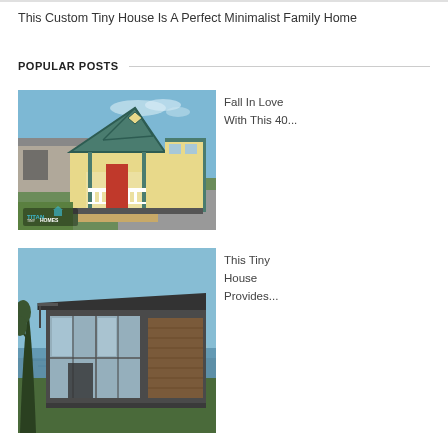This Custom Tiny House Is A Perfect Minimalist Family Home
POPULAR POSTS
[Figure (photo): Tiny house on wheels with yellow siding, green trim, red door, white porch railing, and TITAN TINY HOMES watermark. Modern cottage style in a parking lot setting.]
Fall In Love With This 40...
[Figure (photo): Modern dark-colored tiny house with flat/mono-pitch roof, large windows, wood panel siding, set beside a lake with mountains in background.]
This Tiny House Provides...